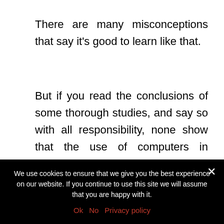There are many misconceptions that say it's good to learn like that.
But if you read the conclusions of some thorough studies, and say so with all responsibility, none show that the use of computers in schools is good. Many studies show that, on the contrary, they negatively affect learning. It's important! Parents, teachers and politicians need to know that.
Germany will just spend 5 billion euros for each
We use cookies to ensure that we give you the best experience on our website. If you continue to use this site we will assume that you are happy with it.